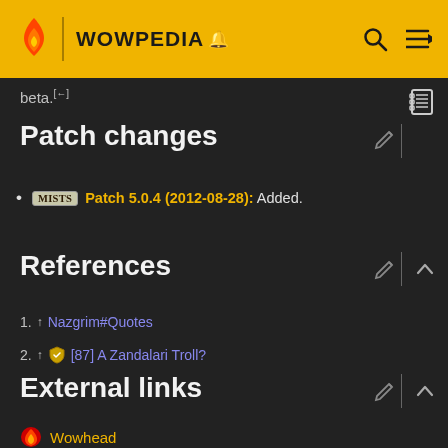WOWPEDIA
beta.[←]
Patch changes
Mists Patch 5.0.4 (2012-08-28): Added.
References
1. ↑ Nazgrim#Quotes
2. ↑ [87] A Zandalari Troll?
External links
Wowhead
WowDB